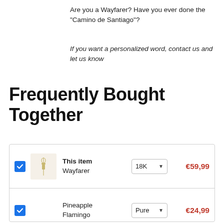Are you a Wayfarer? Have you ever done the "Camino de Santiago"?
If you want a personalized word, contact us and let us know
Frequently Bought Together
|  | Item | Option | Price |
| --- | --- | --- | --- |
| ☑ | This item Wayfarer | 18K | €59,99 |
| ☑ | Pineapple Flamingo | Pure | €24,99 |
| ☑ | Australia | Polis | €59,99 |